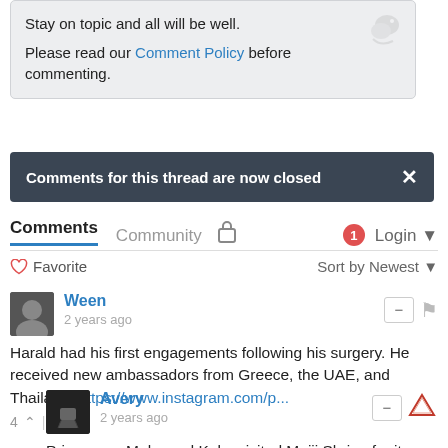Stay on topic and all will be well.
Please read our Comment Policy before commenting.
Comments for this thread are now closed
Comments  Community  Login
♡ Favorite  Sort by Newest
Ween
2 years ago
Harald had his first engagements following his surgery. He received new ambassadors from Greece, the UAE, and Thailand: https://www.instagram.com/p...
Avery
2 years ago
Princesses Mako and Kako visited Meiji Shrine for its